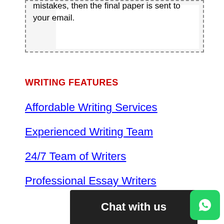mistakes, then the final paper is sent to your email.
WRITING FEATURES
Affordable Writing Services
Experienced Writing Team
24/7 Team of Writers
Professional Essay Writers
[Figure (other): Chat with us button and WhatsApp icon at the bottom of the page]